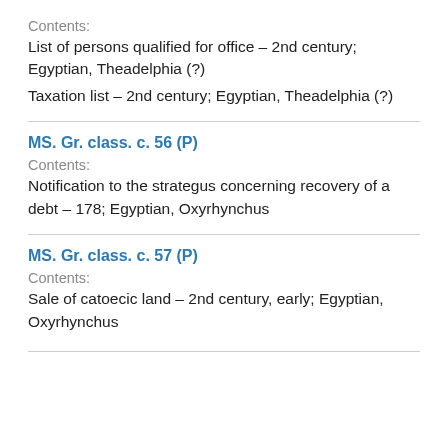Contents:
List of persons qualified for office – 2nd century; Egyptian, Theadelphia (?)
Taxation list – 2nd century; Egyptian, Theadelphia (?)
MS. Gr. class. c. 56 (P)
Contents:
Notification to the strategus concerning recovery of a debt – 178; Egyptian, Oxyrhynchus
MS. Gr. class. c. 57 (P)
Contents:
Sale of catoecic land – 2nd century, early; Egyptian, Oxyrhynchus